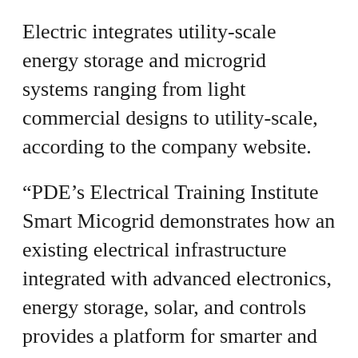Electric integrates utility-scale energy storage and microgrid systems ranging from light commercial designs to utility-scale, according to the company website.
“PDE’s Electrical Training Institute Smart Micogrid demonstrates how an existing electrical infrastructure integrated with advanced electronics, energy storage, solar, and controls provides a platform for smarter and more reliable electrical systems,” says PDE’s website. “These state-of-the-art technologies enable adoption of the emerging smart grid, facilitate integration of electric vehicles to the grid, and support California’s 2030 renewable…